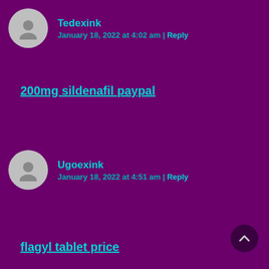Tedexink
January 18, 2022 at 4:02 am | Reply
200mg sildenafil paypal
Ugoexink
January 18, 2022 at 4:51 am | Reply
flagyl tablet price